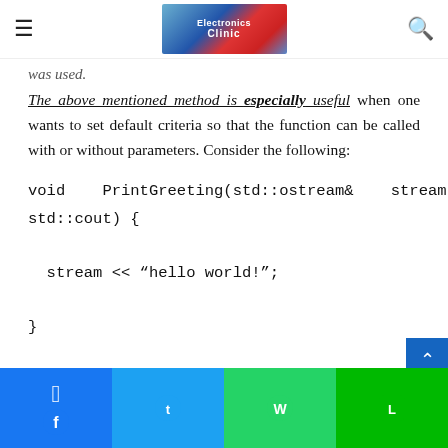Electronic Clinic (logo with hamburger and search icons)
The above mentioned method is especially useful when one wants to set default criteria so that the function can be called with or without parameters. Consider the following:
void    PrintGreeting(std::ostream&    stream    =
std::cout) {

  stream << “hello world!”;

}
The function call:
Facebook | Twitter | WhatsApp | Line social sharing buttons